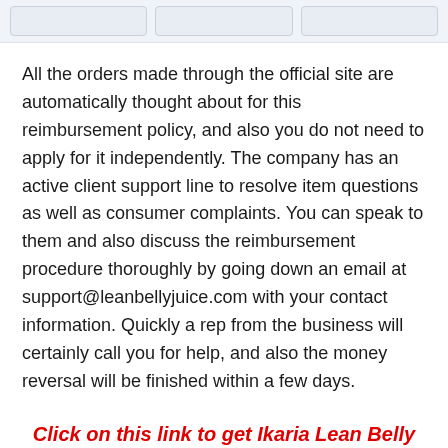[Figure (other): Three placeholder/button elements in a light blue-grey top bar]
All the orders made through the official site are automatically thought about for this reimbursement policy, and also you do not need to apply for it independently. The company has an active client support line to resolve item questions as well as consumer complaints. You can speak to them and also discuss the reimbursement procedure thoroughly by going down an email at support@leanbellyjuice.com with your contact information. Quickly a rep from the business will certainly call you for help, and also the money reversal will be finished within a few days.
Click on this link to get Ikaria Lean Belly Juice with a 180-day money back offer